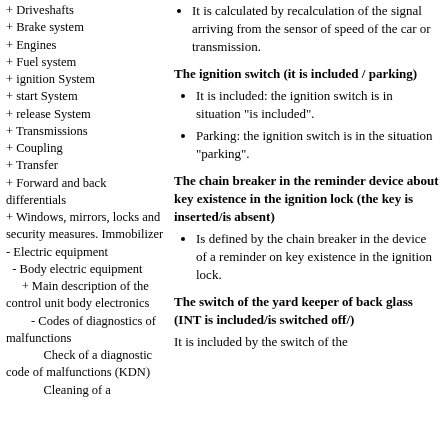+ Driveshafts
+ Brake system
+ Engines
+ Fuel system
+ ignition System
+ start System
+ release System
+ Transmissions
+ Coupling
+ Transfer
+ Forward and back differentials
+ Windows, mirrors, locks and security measures. Immobilizer
- Electric equipment
- Body electric equipment
+ Main description of the control unit body electronics
- Codes of diagnostics of malfunctions
Check of a diagnostic code of malfunctions (KDN)
Cleaning of a
It is calculated by recalculation of the signal arriving from the sensor of speed of the car or transmission.
The ignition switch (it is included / parking)
It is included: the ignition switch is in situation "is included".
Parking: the ignition switch is in the situation "parking".
The chain breaker in the reminder device about key existence in the ignition lock (the key is inserted/is absent)
Is defined by the chain breaker in the device of a reminder on key existence in the ignition lock.
The switch of the yard keeper of back glass (INT is included/is switched off/)
It is included by the switch of the